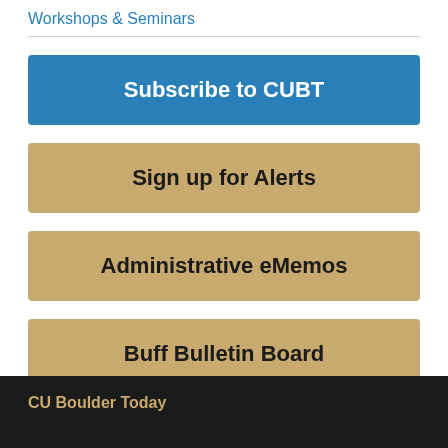Workshops & Seminars
Subscribe to CUBT
Sign up for Alerts
Administrative eMemos
Buff Bulletin Board
Events Calendar
CU Boulder Today